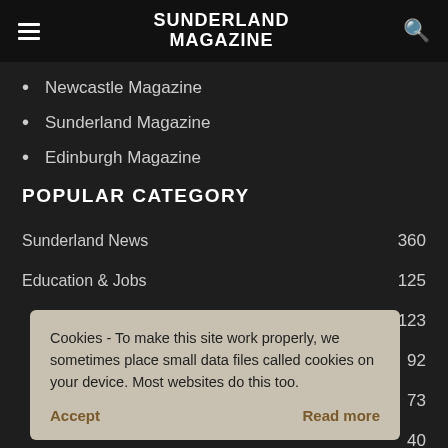SUNDERLAND MAGAZINE
Newcastle Magazine
Sunderland Magazine
Edinburgh Magazine
POPULAR CATEGORY
Sunderland News  360
Education & Jobs  125
123
92
73
40
North East News  34
Cookies - To make this site work properly, we sometimes place small data files called cookies on your device. Most websites do this too.